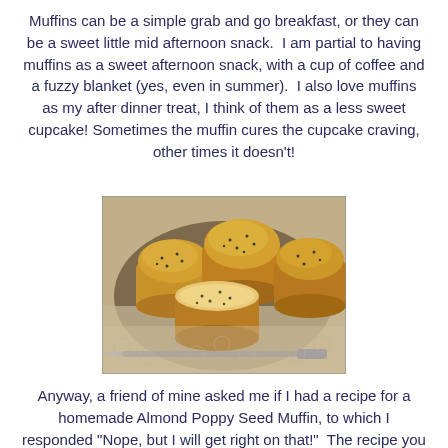Muffins can be a simple grab and go breakfast, or they can be a sweet little mid afternoon snack.  I am partial to having muffins as a sweet afternoon snack, with a cup of coffee and a fuzzy blanket (yes, even in summer).  I also love muffins as my after dinner treat, I think of them as a less sweet cupcake! Sometimes the muffin cures the cupcake craving, other times it doesn't!
[Figure (photo): Photo of four poppy seed muffins arranged on a decorative cloth/lace surface, with a butter knife visible in the foreground. The muffins are golden-brown and one appears to be cut or broken.]
Anyway, a friend of mine asked me if I had a recipe for a homemade Almond Poppy Seed Muffin, to which I responded "Nope, but I will get right on that!"  The recipe you